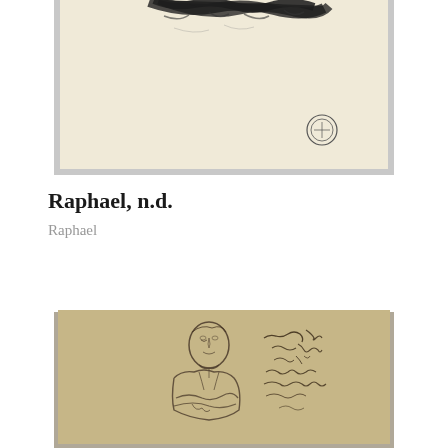[Figure (illustration): A pencil or charcoal sketch on cream/beige paper. The top portion shows dark scribbled marks suggesting hair or foliage. The lower portion is mostly blank cream paper with a small circular stamp or seal in the lower right area.]
Raphael, n.d.
Raphael
[Figure (illustration): A pencil sketch on tan/khaki paper showing a seated male figure from the torso up, with arms crossed. The figure has a receding hairline and wears a coat with an open collar. To the right of the figure is cursive handwriting reading 'Lord Grey / Baron / Sep 5 / one of his attendants / [further text partly cut off]'.]